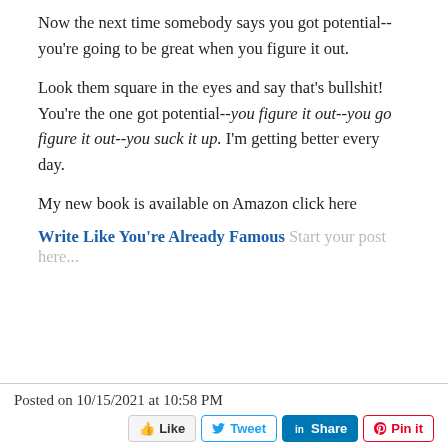Now the next time somebody says you got potential--you're going to be great when you figure it out.
Look them square in the eyes and say that's bullshit! You're the one got potential--you figure it out--you go figure it out--you suck it up. I'm getting better every day.
My new book is available on Amazon click here
Write Like You're Already Famous  Start your post here...
Posted on 10/15/2021 at 10:58 PM